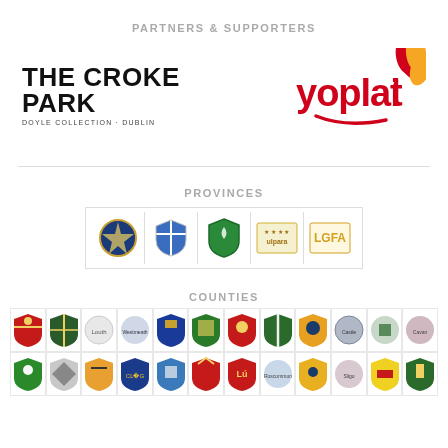PARTNERS & SUPPORTERS
[Figure (logo): The Croke Park – Doyle Collection • Dublin logo (text-based logo)]
[Figure (logo): Yoplait logo with colorful flower/swirl icon]
PROVINCES
[Figure (logo): Row of five provincial association logos/badges in a bordered strip]
COUNTIES
[Figure (logo): Grid of county crest/badge logos, two rows of twelve each]